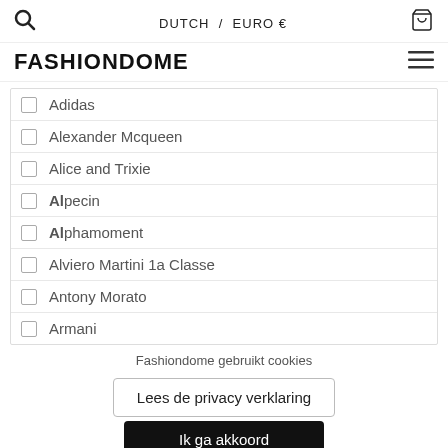🔍   DUTCH / EURO €   🛒
FASHIONDOME
Adidas
Alexander Mcqueen
Alice and Trixie
Alpecin
Alphamoment
Alviero Martini 1a Classe
Antony Morato
Armani
Fashiondome gebruikt cookies
Lees de privacy verklaring
Ik ga akkoord